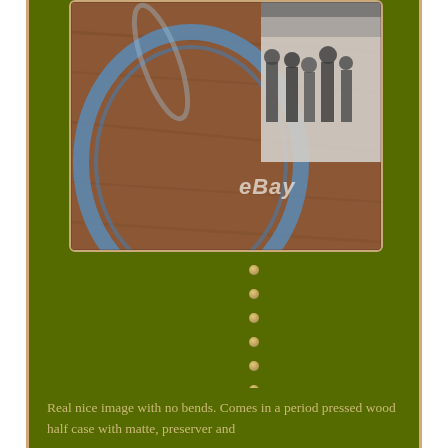[Figure (photo): A close-up photograph showing what appears to be a vintage photo or image inside a blue-rimmed circular/oval frame, placed on a wooden surface. A partial black-and-white photograph of a group of people is visible in the upper right. An eBay watermark is visible on the image.]
•
•
•
•
•
•
•
•
Real nice image with no bends. Comes in a period pressed wood half case with matte, preserver and